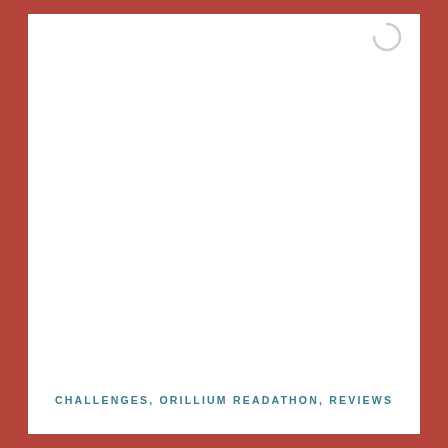[Figure (logo): Partial circle/logo mark in light gray at top right corner of white page area]
CHALLENGES, ORILLIUM READATHON, REVIEWS